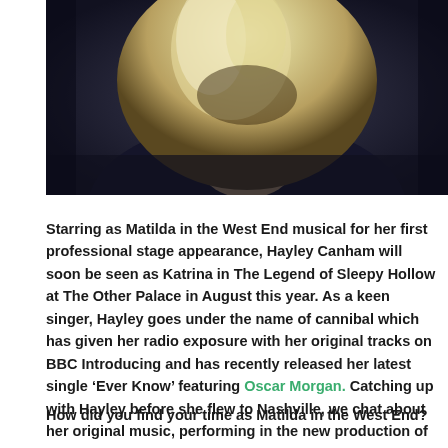[Figure (photo): A close-up photograph of a person with blonde hair against a dark background, cropped to show mostly the top of their head and hair.]
Starring as Matilda in the West End musical for her first professional stage appearance, Hayley Canham will soon be seen as Katrina in The Legend of Sleepy Hollow at The Other Palace in August this year. As a keen singer, Hayley goes under the name of cannibal which has given her radio exposure with her original tracks on BBC Introducing and has recently released her latest single ‘Ever Know’ featuring Oscar Morgan. Catching up with Hayley before she flew to Nashville, we chat about her original music, performing in the new production of The Legend of Sleepy Hollow and her plans for cannibal.
How did you find your time as Matilda in the West End?